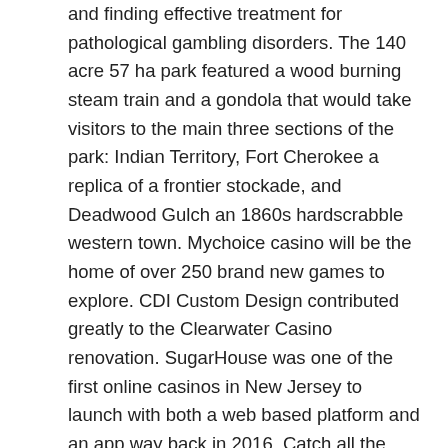and finding effective treatment for pathological gambling disorders. The 140 acre 57 ha park featured a wood burning steam train and a gondola that would take visitors to the main three sections of the park: Indian Territory, Fort Cherokee a replica of a frontier stockade, and Deadwood Gulch an 1860s hardscrabble western town. Mychoice casino will be the home of over 250 brand new games to explore. CDI Custom Design contributed greatly to the Clearwater Casino renovation. SugarHouse was one of the first online casinos in New Jersey to launch with both a web based platform and an app way back in 2016. Catch all the UFC action at the BetMGM Sportsbooks. 1 Red Hawk BoulevardPlacerville, CA 95667. Even Las Vegas' pro football team got in on the action. Cleburen, Texas based Fun Town RV has opened a dealership at WinStar World Casino and Resort in Thackerville. 60,000 sq ft gaming space with 830 gaming machines and 35 table games.